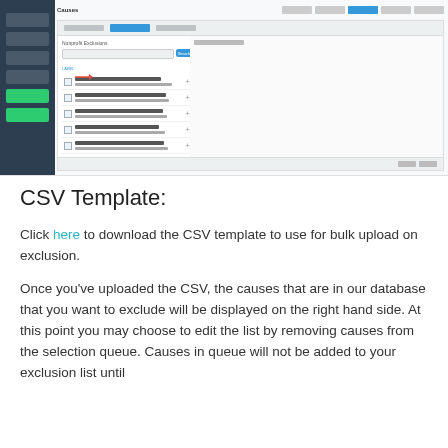[Figure (screenshot): Screenshot of a web application showing a 'Causes' page with a sidebar navigation, search/filter interface, list of nonprofit organizations with checkboxes, and a right panel for selected exclusions. A red arrow indicator points to a filter element.]
CSV Template:
Click here to download the CSV template to use for bulk upload on exclusion.
Once you've uploaded the CSV, the causes that are in our database that you want to exclude will be displayed on the right hand side. At this point you may choose to edit the list by removing causes from the selection queue. Causes in queue will not be added to your exclusion list until